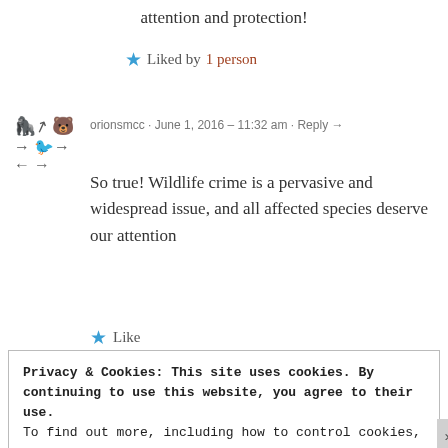attention and protection!
★ Liked by 1 person
orionsmcc · June 1, 2016 – 11:32 am · Reply →
So true! Wildlife crime is a pervasive and widespread issue, and all affected species deserve our attention
★ Like
Horrors of asian shark fin butchery | Page 2 | Physics Forums – The Fusion of Science and Community · June 1, 2016 – 12:24 pm · Reply →
Privacy & Cookies: This site uses cookies. By continuing to use this website, you agree to their use.
To find out more, including how to control cookies, see here: Cookie Policy
Close and accept